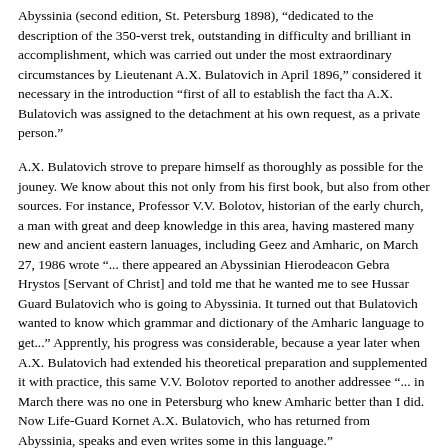Abyssinia (second edition, St. Petersburg 1898), "dedicated to the description of the 350-verst trek, outstanding in difficulty and brilliant in accomplishment, which was carried out under the most extraordinary circumstances by Lieutenant A.X. Bulatovich in April 1896," considered it necessary in the introduction "first of all to establish the fact tha A.X. Bulatovich was assigned to the detachment at his own request, as a private person."
A.X. Bulatovich strove to prepare himself as thoroughly as possible for the jouney. We know about this not only from his first book, but also from other sources. For instance, Professor V.V. Bolotov, historian of the early church, a man with great and deep knowledge in this area, having mastered many new and ancient eastern lanuages, including Geez and Amharic, on March 27, 1986 wrote "... there appeared an Abyssinian Hierodeacon Gebra Hrystos [Servant of Christ] and told me that he wanted me to see Hussar Guard Bulatovich who is going to Abyssinia. It turned out that Bulatovich wanted to know which grammar and dictionary of the Amharic language to get..." Apprently, his progress was considerable, because a year later when A.X. Bulatovich had extended his theoretical preparation and supplemented it with practice, this same V.V. Bolotov reported to another addressee "... in March there was no one in Petersburg who knew Amharic better than I did. Now Life-Guard Kornet A.X. Bulatovich, who has returned from Abyssinia, speaks and even writes some in this language."
The trip to Ethiopia turned out to be longer than anticipated, due to obstacles put in their way by Italians who hadn't given up hope of consolidating their position in Ethiopia. Naturally, any help to Ethiopia, even medical, was undesirable to them.